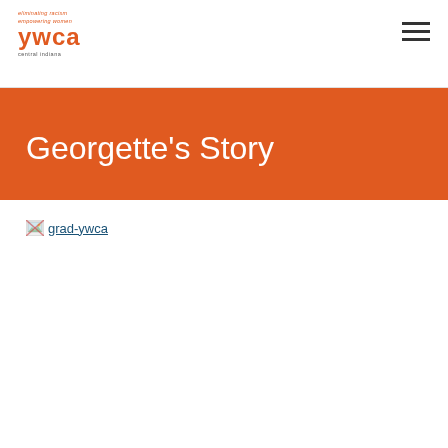YWCA Central Indiana — eliminating racism, empowering women
Georgette's Story
[Figure (photo): Broken image placeholder labeled 'grad-ywca']